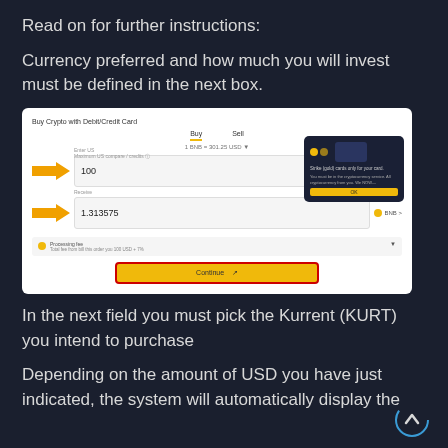Read on for further instructions:
Currency preferred and how much you will invest must be defined in the next box.
[Figure (screenshot): Screenshot of a 'Buy Crypto with Debit/Credit Card' interface showing Buy/Sell tabs, input fields with orange arrows pointing to '100' and '1.313575', currency selectors, a card popup, processing fee section, and a Continue button highlighted with red border.]
In the next field you must pick the Kurrent (KURT) you intend to purchase
Depending on the amount of USD you have just indicated, the system will automatically display the number of Kurrent (KURT) you are going to receive